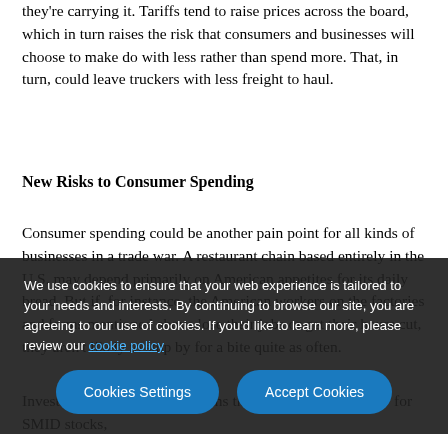they're carrying it. Tariffs tend to raise prices across the board, which in turn raises the risk that consumers and businesses will choose to make do with less rather than spend more. That, in turn, could leave truckers with less freight to haul.
New Risks to Consumer Spending
Consumer spending could be another pain point for all kinds of businesses in a trade war. A restaurant chain based entirely in the U.S. may depend primarily on American appetites for its daily bread. But if, for instance, the American workers on the factories and farms mentioned above lose their jobs or get their hours cut, they aren't likely to stop by for a bite quite as often.
We use cookies to ensure that your web experience is tailored to your needs and interests. By continuing to browse our site, you are agreeing to our use of cookies. If you'd like to learn more, please review our cookie policy
Investors sho es wary of claims that a trade war is "good" for SMID stocks,